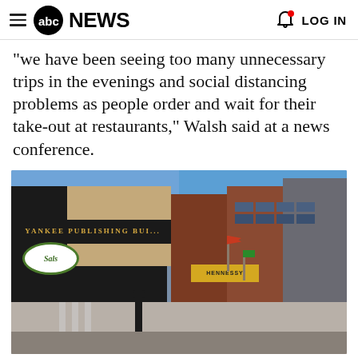abc NEWS   LOG IN
"we have been seeing too many unnecessary trips in the evenings and social distancing problems as people order and wait for their take-out at restaurants," Walsh said at a news conference.
[Figure (photo): A block of closed restaurants on a deserted street, showing Yankee Publishing building and Sals restaurant, with an empty road, on April 4, 2020.]
A block of closed restaurants on a deserted street, April 4, 2020,